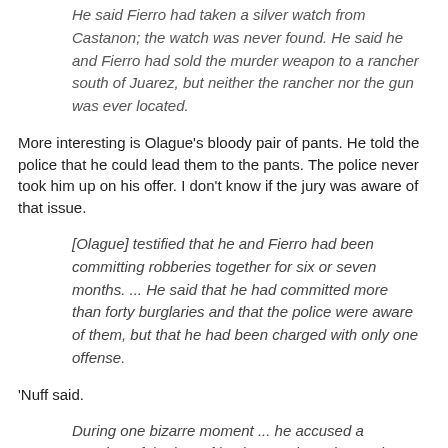He said Fierro had taken a silver watch from Castanon; the watch was never found. He said he and Fierro had sold the murder weapon to a rancher south of Juarez, but neither the rancher nor the gun was ever located.
More interesting is Olague's bloody pair of pants. He told the police that he could lead them to the pants. The police never took him up on his offer. I don't know if the jury was aware of that issue.
[Olague] testified that he and Fierro had been committing robberies together for six or seven months. ... He said that he had committed more than forty burglaries and that the police were aware of them, but that he had been charged with only one offense.
'Nuff said.
During one bizarre moment ... he accused a member of the jury of having purchased as stolen